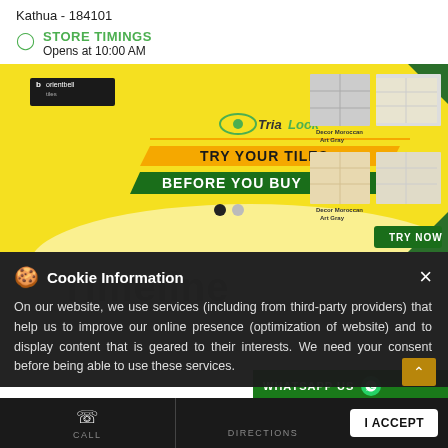Kathua - 184101
STORE TIMINGS
Opens at 10:00 AM
[Figure (screenshot): Orient Bell TriaLook advertisement banner: 'TRY YOUR TILES BEFORE YOU BUY' with tile images and TRY NOW button]
WHATSAPP US
Timeline
Cookie Information
On our website, we use services (including from third-party providers) that help us to improve our online presence (optimization of website) and to display content that is geared to their interests. We need your consent before being able to use these services.
CALL
DIRECTIONS
I ACCEPT